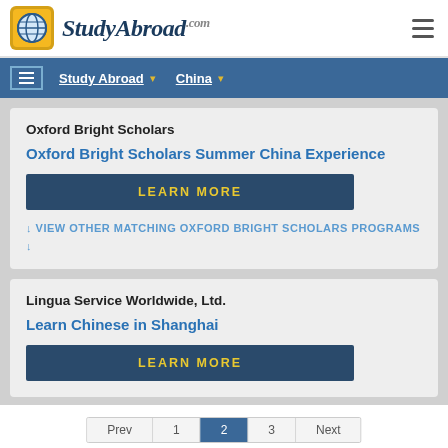[Figure (logo): StudyAbroad.com logo with globe icon in gold/yellow square and stylized text]
Study Abroad ▾  China ▾
Oxford Bright Scholars
Oxford Bright Scholars Summer China Experience
LEARN MORE
↓ VIEW OTHER MATCHING OXFORD BRIGHT SCHOLARS PROGRAMS ↓
Lingua Service Worldwide, Ltd.
Learn Chinese in Shanghai
LEARN MORE